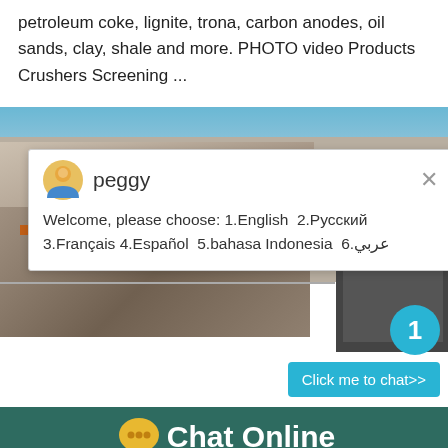petroleum coke, lignite, trona, carbon anodes, oil sands, clay, shale and more. PHOTO video Products Crushers Screening ...
[Figure (screenshot): A screenshot of a construction machinery website showing a quarry/rock crushing site in the background with a live chat popup from an agent named 'peggy' offering language selection options: 1.English 2.Русский 3.Français 4.Español 5.bahasa Indonesia 6.عربي. A blue notification badge showing '1' and a 'Click me to chat>>' button are visible.]
Chat Online